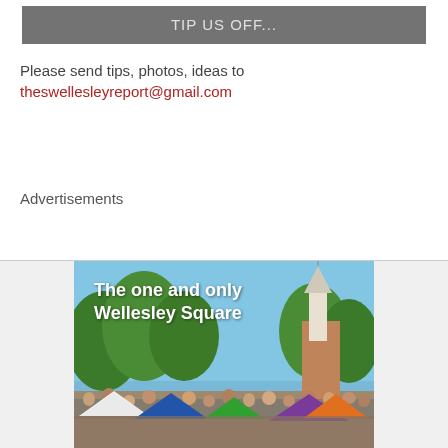TIP US OFF...
Please send tips, photos, ideas to
theswellesleyreport@gmail.com
Advertisements
[Figure (photo): Outdoor scene of Wellesley Square with a crowd, colorful tents/canopies, trees, and a white church steeple under blue sky. Text overlay reads 'The one and only Wellesley Square']